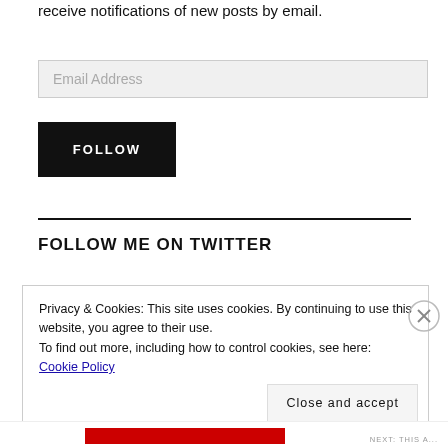receive notifications of new posts by email.
Email Address
FOLLOW
FOLLOW ME ON TWITTER
Privacy & Cookies: This site uses cookies. By continuing to use this website, you agree to their use.
To find out more, including how to control cookies, see here: Cookie Policy
Close and accept